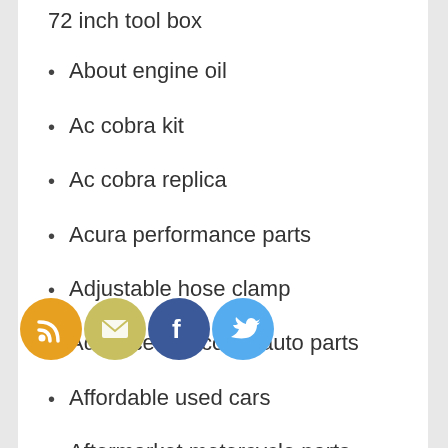72 inch tool box (partial, cut off at top)
About engine oil
Ac cobra kit
Ac cobra replica
Acura performance parts
Adjustable hose clamp
Advanced discount auto parts
Affordable used cars
Aftermarket motorcycle parts
Aftermarket parts for cars
Agv parts
Air-filter replacement